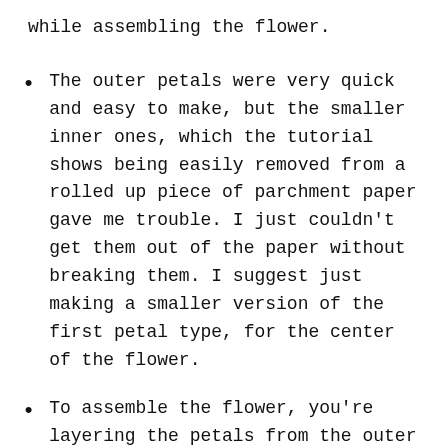while assembling the flower.
The outer petals were very quick and easy to make, but the smaller inner ones, which the tutorial shows being easily removed from a rolled up piece of parchment paper gave me trouble.  I just couldn't get them out of the paper without breaking them.  I suggest just making a smaller version of the first petal type, for the center of the flower.
To assemble the flower, you're layering the petals from the outer layer to the middle layer, holding them together with melted